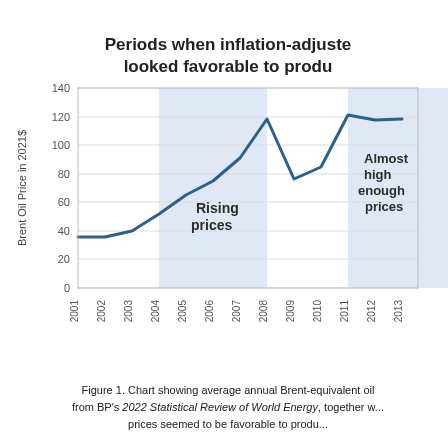[Figure (line-chart): Periods when inflation-adjusted... looked favorable to produ...]
Figure 1. Chart showing average annual Brent-equivalent oil from BP's 2022 Statistical Review of World Energy, together w... prices seemed to be favorable to produ...